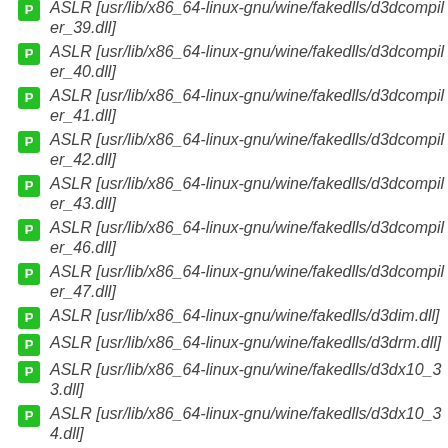ASLR [usr/lib/x86_64-linux-gnu/wine/fakedlls/d3dcompiler_39.dll]
ASLR [usr/lib/x86_64-linux-gnu/wine/fakedlls/d3dcompiler_40.dll]
ASLR [usr/lib/x86_64-linux-gnu/wine/fakedlls/d3dcompiler_41.dll]
ASLR [usr/lib/x86_64-linux-gnu/wine/fakedlls/d3dcompiler_42.dll]
ASLR [usr/lib/x86_64-linux-gnu/wine/fakedlls/d3dcompiler_43.dll]
ASLR [usr/lib/x86_64-linux-gnu/wine/fakedlls/d3dcompiler_46.dll]
ASLR [usr/lib/x86_64-linux-gnu/wine/fakedlls/d3dcompiler_47.dll]
ASLR [usr/lib/x86_64-linux-gnu/wine/fakedlls/d3dim.dll]
ASLR [usr/lib/x86_64-linux-gnu/wine/fakedlls/d3drm.dll]
ASLR [usr/lib/x86_64-linux-gnu/wine/fakedlls/d3dx10_33.dll]
ASLR [usr/lib/x86_64-linux-gnu/wine/fakedlls/d3dx10_34.dll]
ASLR [usr/lib/x86_64-linux-gnu/wine/fakedlls/d3dx10_35.dll]
ASLR [usr/lib/x86_64-linux-gnu/wine/fakedlls/d3dx10_36.dll]